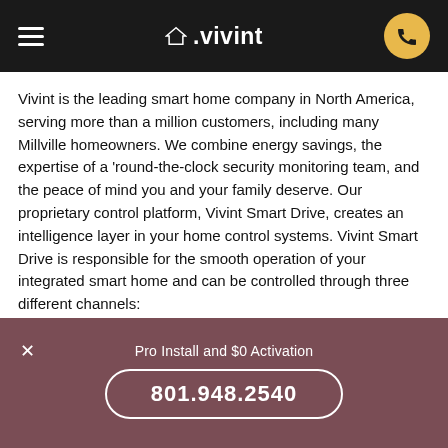vivint (navigation bar with logo and phone button)
Vivint is the leading smart home company in North America, serving more than a million customers, including many Millville homeowners. We combine energy savings, the expertise of a 'round-the-clock security monitoring team, and the peace of mind you and your family deserve. Our proprietary control platform, Vivint Smart Drive, creates an intelligence layer in your home control systems. Vivint Smart Drive is responsible for the smooth operation of your integrated smart home and can be controlled through three different channels:
1. Vivint Smart Hub - A WiFi, cellular, Z-Wave, and
Pro Install and $0 Activation
801.948.2540